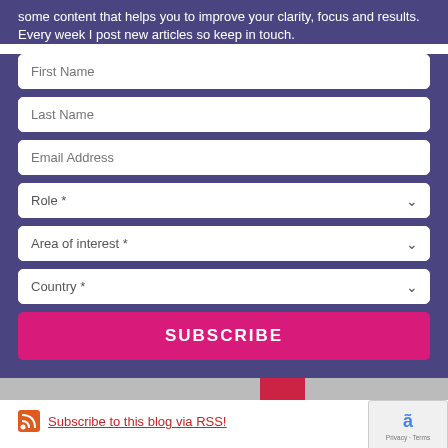some content that helps you to improve your clarity, focus and results. Every week I post new articles so keep in touch.
[Figure (screenshot): Web subscription form with fields: First Name, Last Name, Email Address, Role (dropdown), Area of interest (dropdown), Country (dropdown), and a SUBSCRIBE button in magenta.]
[Figure (photo): Partial image strip at bottom of form area]
Subscribe to this blog via RSS!